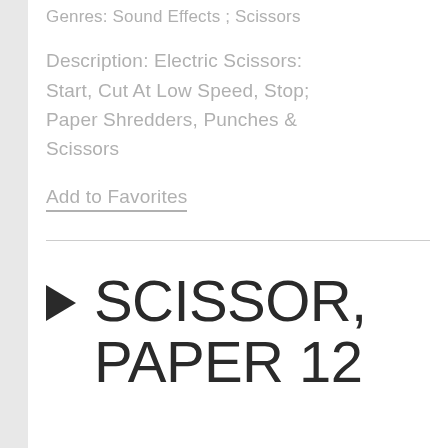Genres: Sound Effects ; Scissors
Description: Electric Scissors: Start, Cut At Low Speed, Stop; Paper Shredders, Punches & Scissors
Add to Favorites
▶  SCISSOR, PAPER 12